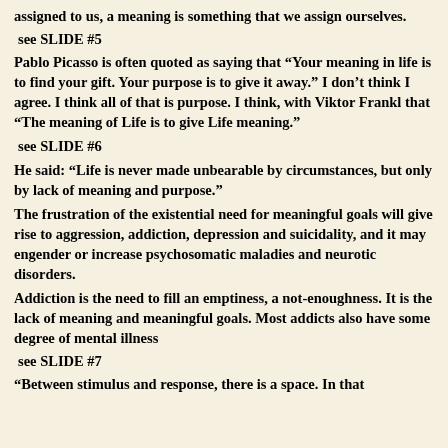assigned to us, a meaning is something that we assign ourselves.
see SLIDE #5
Pablo Picasso is often quoted as saying that “Your meaning in life is to find your gift. Your purpose is to give it away.” I don’t think I agree. I think all of that is purpose. I think, with Viktor Frankl that “The meaning of Life is to give Life meaning.”
see SLIDE #6
He said: “Life is never made unbearable by circumstances, but only by lack of meaning and purpose.”
The frustration of the existential need for meaningful goals will give rise to aggression, addiction, depression and suicidality, and it may engender or increase psychosomatic maladies and neurotic disorders.
Addiction is the need to fill an emptiness, a not-enoughness. It is the lack of meaning and meaningful goals. Most addicts also have some degree of mental illness
see SLIDE #7
“Between stimulus and response, there is a space. In that